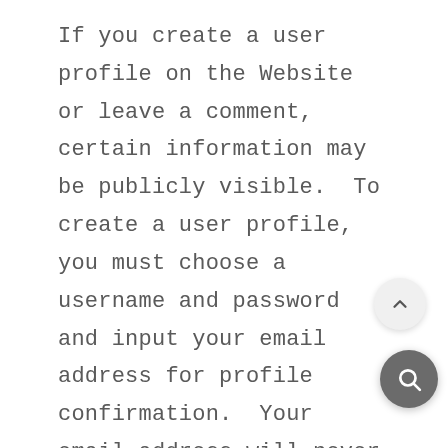If you create a user profile on the Website or leave a comment, certain information may be publicly visible.  To create a user profile, you must choose a username and password and input your email address for profile confirmation.  Your email address will never be available publicly.  At your option, you may also add an avatar, a profile description, and a link to your website.
You may also choose to link your Facebook, Instagram, and Google Account.
Users may see your username, avatar, profile